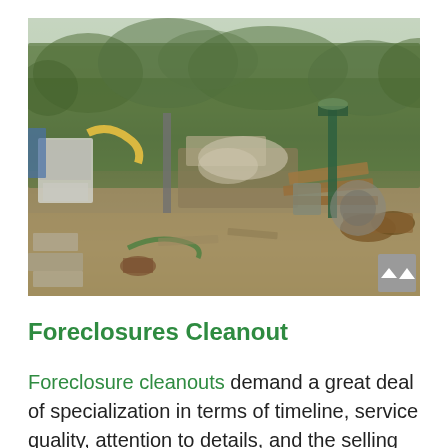[Figure (photo): Outdoor scene showing a large pile of miscellaneous junk and debris including old furniture, wood planks, appliances, hoses, and scrap materials piled against a dense hedge or shrub background, with a gravel/grass ground area in front.]
Foreclosures Cleanout
Foreclosure cleanouts demand a great deal of specialization in terms of timeline, service quality, attention to details, and the selling